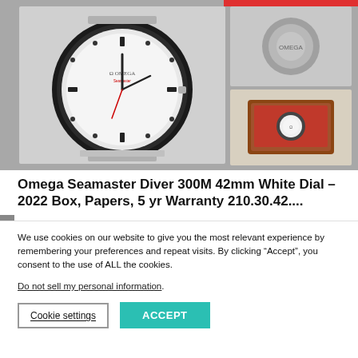[Figure (photo): Product photo collage of an Omega Seamaster Diver 300M 42mm watch with white dial, showing the front face with black bezel and steel bracelet, plus two inset photos on the right: top showing the watch back/clasp, bottom showing watch in a box.]
Omega Seamaster Diver 300M 42mm White Dial – 2022 Box, Papers, 5 yr Warranty 210.30.42....
We use cookies on our website to give you the most relevant experience by remembering your preferences and repeat visits. By clicking “Accept”, you consent to the use of ALL the cookies.
Do not sell my personal information.
Cookie settings
ACCEPT